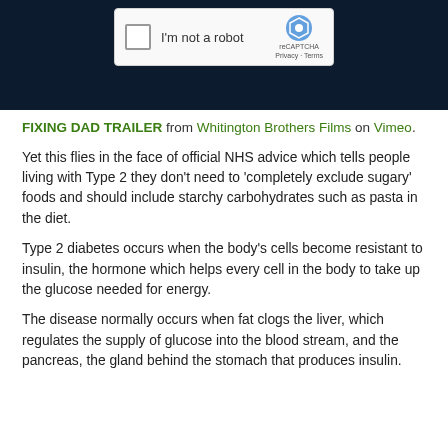[Figure (screenshot): Dark navy banner with a reCAPTCHA widget showing a checkbox, 'I'm not a robot' text, reCAPTCHA logo, and Privacy/Terms links]
FIXING DAD TRAILER from Whitington Brothers Films on Vimeo.
Yet this flies in the face of official NHS advice which tells people living with Type 2 they don't need to 'completely exclude sugary' foods and should include starchy carbohydrates such as pasta in the diet.
Type 2 diabetes occurs when the body's cells become resistant to insulin, the hormone which helps every cell in the body to take up the glucose needed for energy.
The disease normally occurs when fat clogs the liver, which regulates the supply of glucose into the blood stream, and the pancreas, the gland behind the stomach that produces insulin.